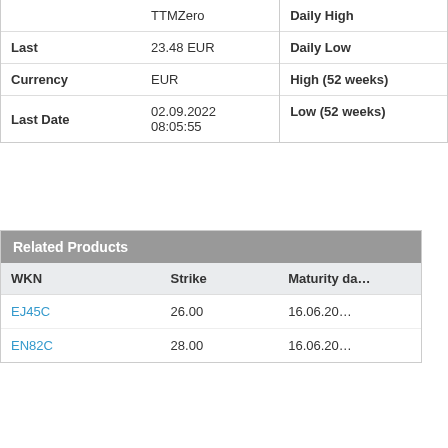|  |  |
| --- | --- |
|  | TTMZero |
| Last | 23.48 EUR |
| Currency | EUR |
| Last Date | 02.09.2022 08:05:55 |
|  |
| --- |
| Daily High |
| Daily Low |
| High (52 weeks) |
| Low (52 weeks) |
Related Products
| WKN | Strike | Maturity da… |
| --- | --- | --- |
| EJ45C | 26.00 | 16.06.20… |
| EN82C | 28.00 | 16.06.20… |